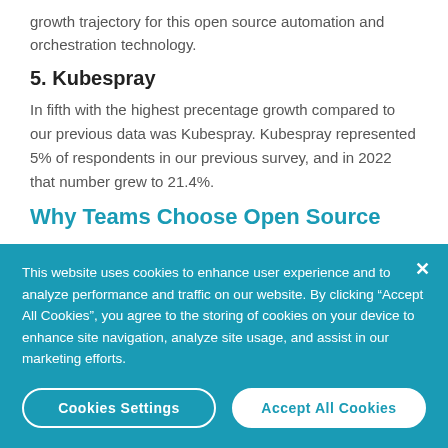growth trajectory for this open source automation and orchestration technology.
5. Kubespray
In fifth with the highest precentage growth compared to our previous data was Kubespray. Kubespray represented 5% of respondents in our previous survey, and in 2022 that number grew to 21.4%.
Why Teams Choose Open Source
This website uses cookies to enhance user experience and to analyze performance and traffic on our website. By clicking “Accept All Cookies”, you agree to the storing of cookies on your device to enhance site navigation, analyze site usage, and assist in our marketing efforts.